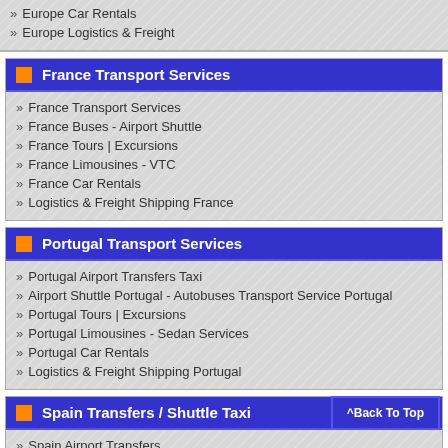Europe Car Rentals
Europe Logistics & Freight
France Transport Services
France Transport Services
France Buses - Airport Shuttle
France Tours | Excursions
France Limousines - VTC
France Car Rentals
Logistics & Freight Shipping France
Portugal Transport Services
Portugal Airport Transfers Taxi
Airport Shuttle Portugal - Autobuses Transport Service Portugal
Portugal Tours | Excursions
Portugal Limousines - Sedan Services
Portugal Car Rentals
Logistics & Freight Shipping Portugal
Spain Transfers / Shuttle Taxi
Spain Airport Transfers
Spain Taxi Services
Spain Tours | Excursions
Spain Airport Shuttle - Buses Spain
Spain Limousines - VTC ...